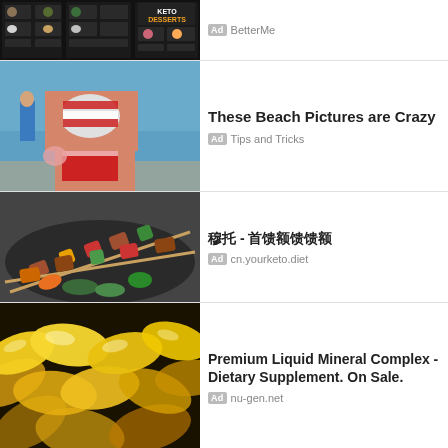[Figure (screenshot): Keto food app advertisement showing food images on dark background with KETO DESSERTS text]
Ad BetterMe
[Figure (photo): Woman in red and white striped bikini standing at the beach]
These Beach Pictures are Crazy
Ad Tips and Tricks
[Figure (photo): Meat and vegetable skewers on a grill pan]
케토 - 다이어트
Ad cn.yourketo.diet
[Figure (photo): Golden yellow liquid-filled gel capsules/supplements]
Premium Liquid Mineral Complex - Dietary Supplement. On Sale.
Ad nu-gen.net